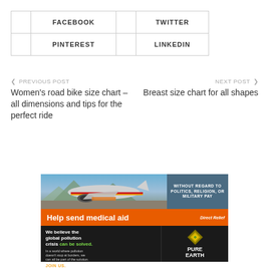|  | FACEBOOK |  | TWITTER |
|  | PINTEREST |  | LINKEDIN |
❮ PREVIOUS POST
Women's road bike size chart – all dimensions and tips for the perfect ride
NEXT POST ❯
Breast size chart for all shapes
[Figure (photo): Advertisement banner: airplane being loaded with cargo (Southwest Airlines style), with text 'Without Regard To Politics, Religion, Or Military Pay']
[Figure (photo): Advertisement banner: Direct Relief - Help send medical aid]
[Figure (photo): Advertisement banner: Pure Earth - We believe the global pollution crisis can be solved. JOIN US.]